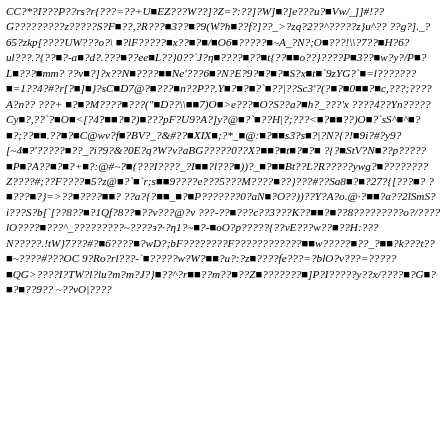CC?*?I???P??rs?r{???=??+UEZ???W??]?Z=?:??]?W]?]e???u?Vw/_]]#!??G?????????z?????S?F??,?R???3??9(W?h??f?]??_>?zq?2??^?????z}u^?? ??g?]._?65?zkp[????UW???o?\ ?lF?????x???/O6??????~A_?N?;O????!\?7??H?6?ul???.?{??-a?d?.???j??eeL??}0??`J?n?????j??t{??o??}????P3??w?y?/P? L???mm? ??v?]?x??N?????Ne'???6?N?E?9??S?x?t`9zYG?`=l????????=1??4?#?r[??]?}?sCD7@???n??P??.Y??????`??|??Sc3'?(?????0??c,???;????A?n?? ???+ ???M?????3???(")D??\??7)O?>e???O?S??a?h?_???'x ????4??Yn?????Cy?,??`??O?<[?4????)??pF?U9?A?]y?@? `??H|?;???<??????)O?`sS^?^???;???.???C@wv?f?BV?_?&#??\XIX?;?*_?@:???s3?s?|?N?{?!?9i?#?y9?[~4??'?????j??_?i?9?&?0E?q?W?v?aBG?????0??X????t?????{?StV?N???p?????P??A????+?:@#~?{???I????_?I???l???))?_???Bt??L?R?????ywg????????Z????#;??F????5?z@? ?`r;s??9????e???5???M?????)}???#??Sa8???27?{[???j ???]?}=>??j?????j? ??a?{??_???P???????0?aN??O??))??Y?A?o.@·???a??2lSmS?i???S?b[`[??8???1Qf?8???v???@?v ???-???c??3???K???j????8?????????o?/????lO??????^_?????????~????з?·?η1?~?-?oO?p?????{??vE???w????H:???N?????.!tW}7???#??6????j?wD?;bF????????F??????????????w?????j??_???k???t???~????#???OC 9?Ro?rl???-`?????w?W???u?:?z????fe???=?blO?v???=?????QG>????I?TW?l?lu?m?m?J?}???^?r???m???Z??????????P?I?????y??x/????G?????9?? ~??vO|????